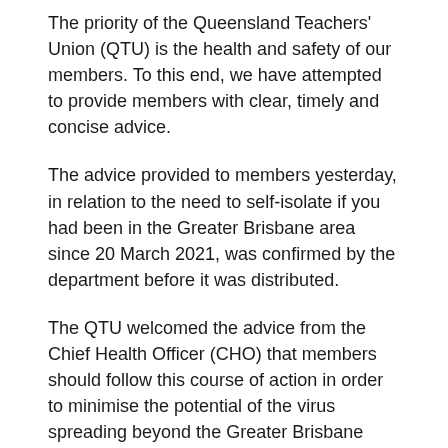The priority of the Queensland Teachers' Union (QTU) is the health and safety of our members. To this end, we have attempted to provide members with clear, timely and concise advice.
The advice provided to members yesterday, in relation to the need to self-isolate if you had been in the Greater Brisbane area since 20 March 2021, was confirmed by the department before it was distributed.
The QTU welcomed the advice from the Chief Health Officer (CHO) that members should follow this course of action in order to minimise the potential of the virus spreading beyond the Greater Brisbane area.
The Department of Education (DoE) has since sought clarification from the CHO about this advice. Consequently, the advice changed overnight to clarify that all members can attend school, regardless of where they live or whether they have been in the Greater Brisbane area.
The QTU has raised concerns about the potential impact this latest decision will have on members reputational, physical and psychological safety. The QTU...